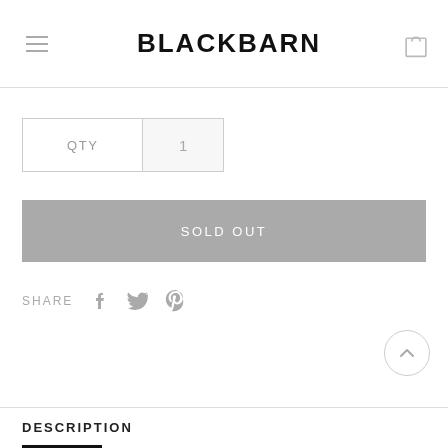BLACKBARN
QTY  1
SOLD OUT
SHARE
DESCRIPTION